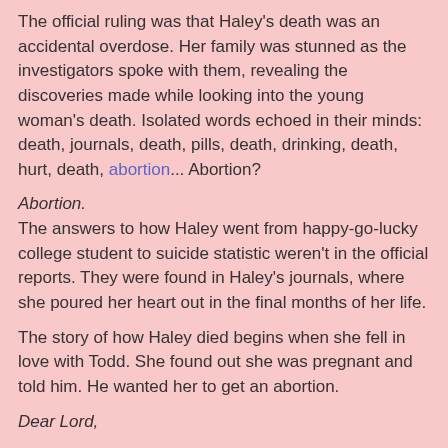The official ruling was that Haley's death was an accidental overdose. Her family was stunned as the investigators spoke with them, revealing the discoveries made while looking into the young woman's death. Isolated words echoed in their minds: death, journals, death, pills, death, drinking, death, hurt, death, abortion... Abortion?
Abortion.
The answers to how Haley went from happy-go-lucky college student to suicide statistic weren't in the official reports. They were found in Haley's journals, where she poured her heart out in the final months of her life.
The story of how Haley died begins when she fell in love with Todd. She found out she was pregnant and told him. He wanted her to get an abortion.
Dear Lord,
I sit here alone with my thoughts wondering if you will ever forgive me. Why do I continue to fail you? I'm failing you...